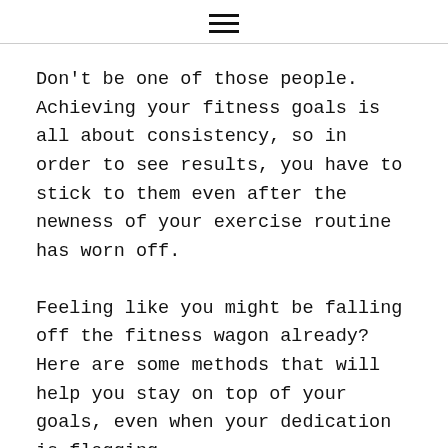☰
Don't be one of those people. Achieving your fitness goals is all about consistency, so in order to see results, you have to stick to them even after the newness of your exercise routine has worn off.
Feeling like you might be falling off the fitness wagon already? Here are some methods that will help you stay on top of your goals, even when your dedication is flagging.